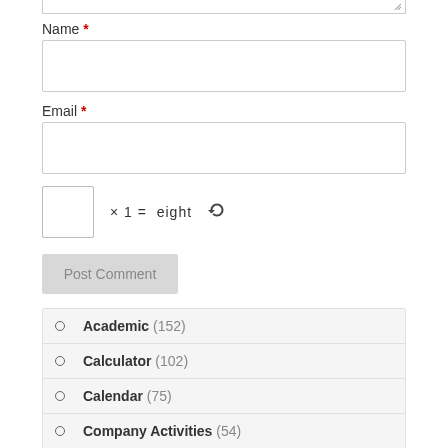Name *
Email *
× 1 = eight
Post Comment
Academic (152)
Calculator (102)
Calendar (75)
Company Activities (54)
Engineering (8)